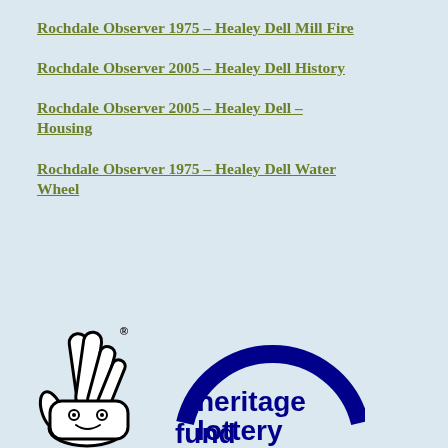Rochdale Observer 1975 – Healey Dell Mill Fire
Rochdale Observer 2005 – Healey Dell History
Rochdale Observer 2005 – Healey Dell – Housing
Rochdale Observer 1975 – Healey Dell Water Wheel
[Figure (logo): National Lottery crossed fingers logo and Heritage Lottery Fund logo side by side]